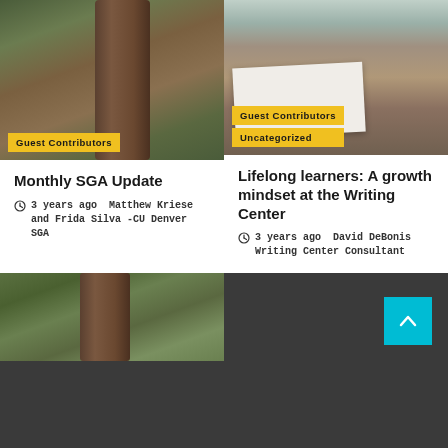[Figure (photo): Outdoor scene with tree trunk and people in background]
Guest Contributors
[Figure (photo): Person writing at a desk with notebook and coffee mug]
Guest Contributors
Uncategorized
Monthly SGA Update
3 years ago  Matthew Kriese and Frida Silva -CU Denver SGA
Lifelong learners: A growth mindset at the Writing Center
3 years ago  David DeBonis Writing Center Consultant
[Figure (photo): Partial outdoor tree scene at bottom left]